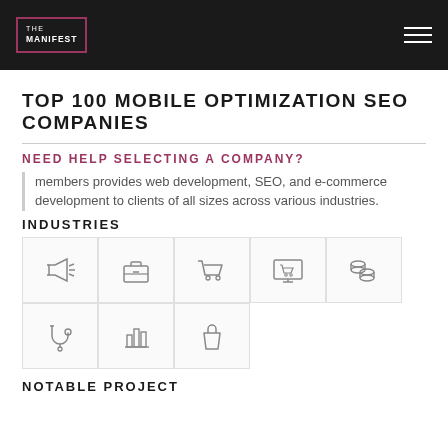THE MANIFEST
TOP 100 MOBILE OPTIMIZATION SEO COMPANIES
NEED HELP SELECTING A COMPANY?
members provides web development, SEO, and e-commerce development to clients of all sizes across various industries.
INDUSTRIES
[Figure (infographic): Industry icons grid: megaphone/advertising, briefcase/business services, shopping cart/ecommerce, monitor with cart/ecommerce, stacked coins/finance, stethoscope/healthcare, bar chart/analytics, shopping bag/retail]
NOTABLE PROJECT